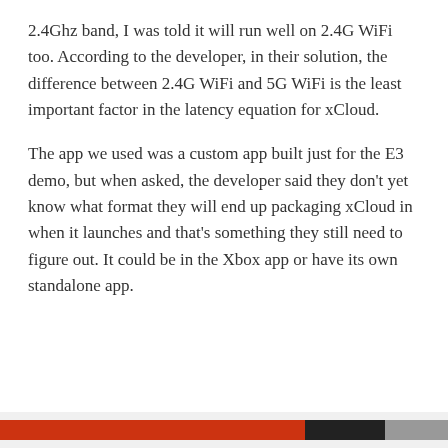2.4Ghz band, I was told it will run well on 2.4G WiFi too. According to the developer, in their solution, the difference between 2.4G WiFi and 5G WiFi is the least important factor in the latency equation for xCloud.
The app we used was a custom app built just for the E3 demo, but when asked, the developer said they don't yet know what format they will end up packaging xCloud in when it launches and that's something they still need to figure out. It could be in the Xbox app or have its own standalone app.
Privacy & Cookies: This site uses cookies. By continuing to use this website, you agree to their use.
To find out more, including how to control cookies, see here: Cookie Policy

Close and accept